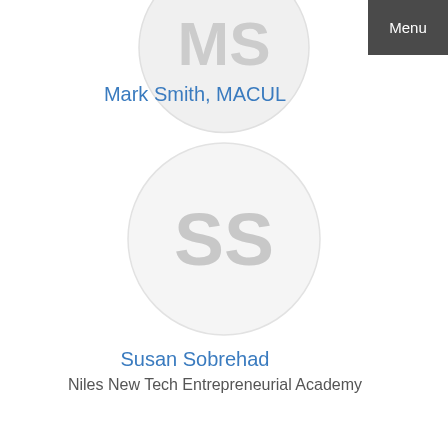[Figure (illustration): Circular avatar placeholder for Mark Smith, MACUL, partially cropped at top of page]
Mark Smith, MACUL
[Figure (illustration): Circular avatar placeholder with initials SS for Susan Sobrehad]
Susan Sobrehad
Niles New Tech Entrepreneurial Academy
Menu